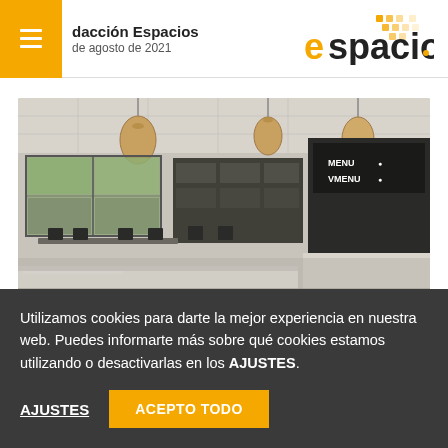Redacción Espacios
de agosto de 2021
[Figure (logo): Espacios logo with orange dot-grid pattern and orange/black text]
[Figure (photo): Interior of a modern cafeteria/restaurant space with pendant lamps, large windows, dark seating, kitchen counter in foreground, and menu board on back wall]
Utilizamos cookies para darte la mejor experiencia en nuestra web. Puedes informarte más sobre qué cookies estamos utilizando o desactivarlas en los AJUSTES.
AJUSTES   ACEPTO TODO